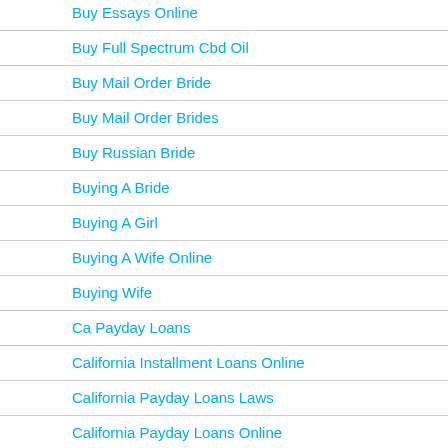Buy Essays Online
Buy Full Spectrum Cbd Oil
Buy Mail Order Bride
Buy Mail Order Brides
Buy Russian Bride
Buying A Bride
Buying A Girl
Buying A Wife Online
Buying Wife
Ca Payday Loans
California Installment Loans Online
California Payday Loans Laws
California Payday Loans Online